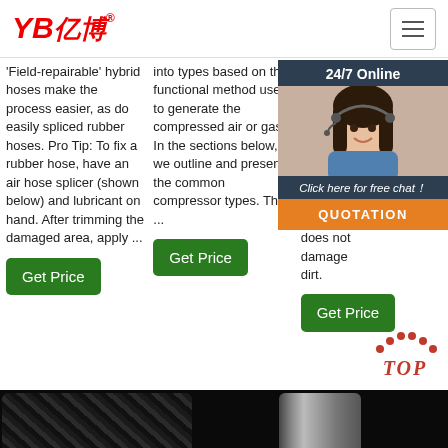YB亿博® [logo] with hamburger menu
'Field-repairable' hybrid hoses make the process easier, as do easily spliced rubber hoses. Pro Tip: To fix a rubber hose, have an air hose splicer (shown below) and lubricant on hand. After trimming the damaged area, apply ...
into types based on the functional method used to generate the compressed air or gas. In the sections below, we outline and present the common compressor types. The ...
designed to endure harsh environments and the chemical rubber compounds make the materials resistant, the does not damage dirt.
[Figure (photo): Customer service representative (woman with headset) in a dark-themed chat widget with 24/7 Online label, Click here for free chat! text, and QUOTATION orange button]
Get Price
Get Price
Get Price
[Figure (other): TOP scroll-to-top icon with red dots arranged in an arch and red italic TOP text]
[Figure (photo): Bottom of page showing dark product images - rubber hose on left, metal fitting/coupling in center]